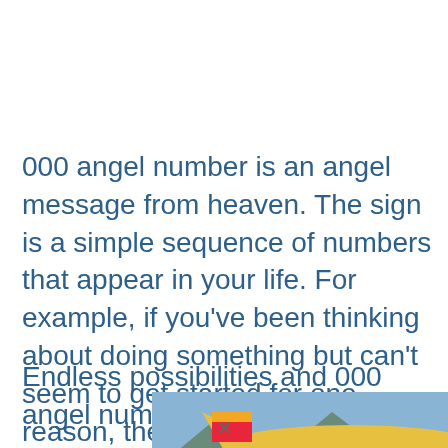000 angel number is an angel message from heaven. The sign is a simple sequence of numbers that appear in your life. For example, if you've been thinking about doing something but can't seem to get started for one reason, the answer may lie with the 000 angel number.
Endless possibilities and 000 angel number go
[Figure (photo): Advertisement banner showing a cargo airplane being loaded on a tarmac with mountains in background. Blue overlay box on right reads 'WITHOUT REGARD TO POLITICS, RELIGION OR ABILITY TO PAY' in white text.]